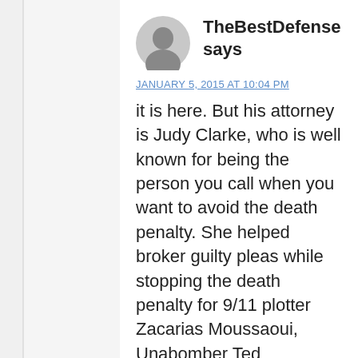TheBestDefense says
JANUARY 5, 2015 AT 10:04 PM
it is here. But his attorney is Judy Clarke, who is well known for being the person you call when you want to avoid the death penalty. She helped broker guilty pleas while stopping the death penalty for 9/11 plotter Zacarias Moussaoui, Unabomber Ted Kaczynski and Jared Loughner, who carried out the mass shooting